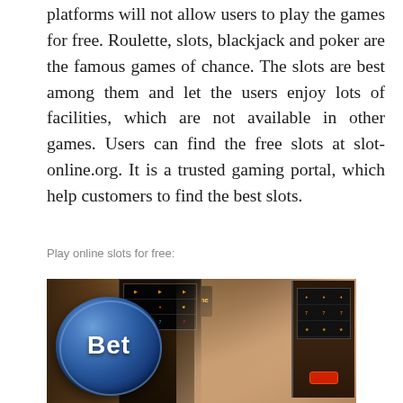platforms will not allow users to play the games for free. Roulette, slots, blackjack and poker are the famous games of chance. The slots are best among them and let the users enjoy lots of facilities, which are not available in other games. Users can find the free slots at slot-online.org. It is a trusted gaming portal, which help customers to find the best slots.
Play online slots for free:
[Figure (photo): Photo of a blue 'Bet' button in the foreground with a casino floor with slot machines and a hand reaching toward them in the background.]